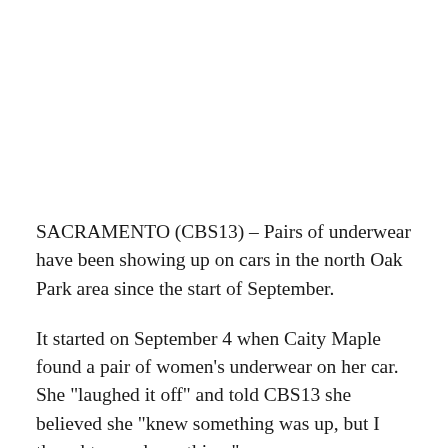SACRAMENTO (CBS13) – Pairs of underwear have been showing up on cars in the north Oak Park area since the start of September.
It started on September 4 when Caity Maple found a pair of women's underwear on her car. She "laughed it off" and told CBS13 she believed she "knew something was up, but I thought...maybe nothing."
When it happened a second time within a week, she